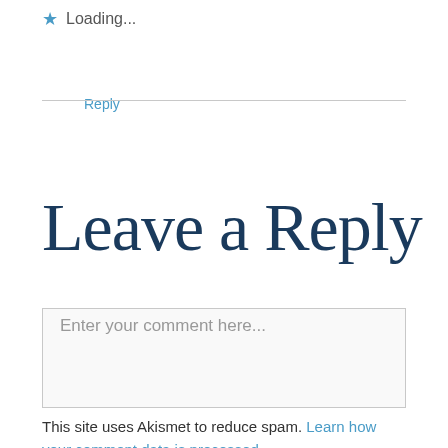★ Loading...
Reply
Leave a Reply
Enter your comment here...
This site uses Akismet to reduce spam. Learn how your comment data is processed.